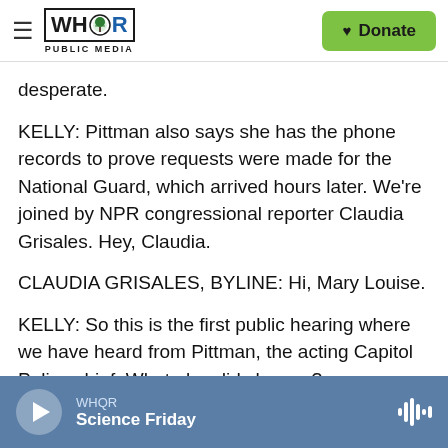WHQR PUBLIC MEDIA | Donate
desperate.
KELLY: Pittman also says she has the phone records to prove requests were made for the National Guard, which arrived hours later. We're joined by NPR congressional reporter Claudia Grisales. Hey, Claudia.
CLAUDIA GRISALES, BYLINE: Hi, Mary Louise.
KELLY: So this is the first public hearing where we have heard from Pittman, the acting Capitol Police chief. What else did she say?
WHQR | Science Friday